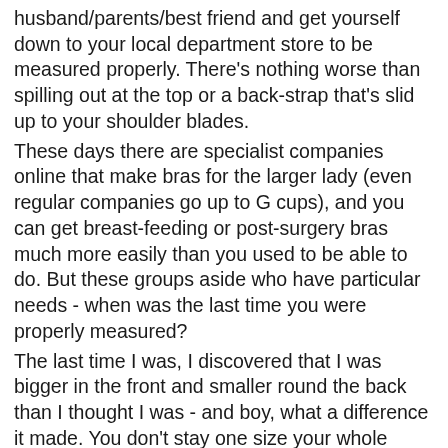husband/parents/best friend and get yourself down to your local department store to be measured properly. There's nothing worse than spilling out at the top or a back-strap that's slid up to your shoulder blades. These days there are specialist companies online that make bras for the larger lady (even regular companies go up to G cups), and you can get breast-feeding or post-surgery bras much more easily than you used to be able to do. But these groups aside who have particular needs - when was the last time you were properly measured? The last time I was, I discovered that I was bigger in the front and smaller round the back than I thought I was - and boy, what a difference it made. You don't stay one size your whole adult life - dieting, pregnancy, age - they can all mean you end up with the wrong bra size. And pants - now ladies, there's no point kidding yourself your bum is smaller than it is. Your knickers will just dig in, ride up and cling to your clothes - not a good look. There's no shame in buying a larger size to be more comfortable. I'm a UK6 (US,2)  in jeans, but I always buy size UK12 underwear. They're just more comfortable. Don't ask me how a 12 fits inside a 6, but they do. Also, there is NO excuse for VPL these days. You don't...